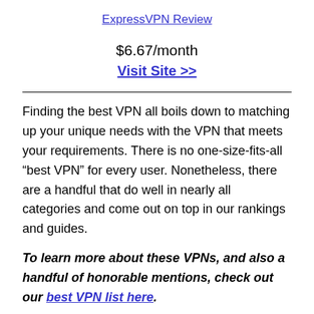ExpressVPN Review
$6.67/month
Visit Site >>
Finding the best VPN all boils down to matching up your unique needs with the VPN that meets your requirements. There is no one-size-fits-all “best VPN” for every user. Nonetheless, there are a handful that do well in nearly all categories and come out on top in our rankings and guides.
To learn more about these VPNs, and also a handful of honorable mentions, check out our best VPN list here.